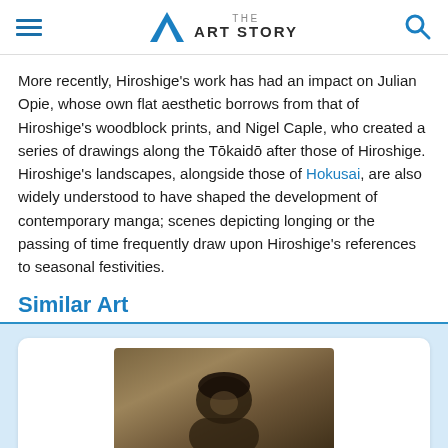THE ART STORY
More recently, Hiroshige's work has had an impact on Julian Opie, whose own flat aesthetic borrows from that of Hiroshige's woodblock prints, and Nigel Caple, who created a series of drawings along the Tōkaidō after those of Hiroshige. Hiroshige's landscapes, alongside those of Hokusai, are also widely understood to have shaped the development of contemporary manga; scenes depicting longing or the passing of time frequently draw upon Hiroshige's references to seasonal festivities.
Similar Art
[Figure (photo): A sepia-toned historical photograph of a figure, partially visible, displayed inside a white card within a light blue section container labeled 'Similar Art'.]